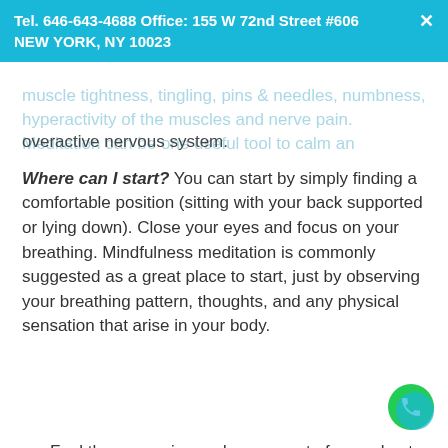Tel. 646-643-4688 Office: 155 W 72nd Street #606 NEW YORK, NY 10023
muscle tightness, tingling, pins & needles, numbness, hyperactivity of the muscles and nerve pain. Meditation can be one useful tool to calm an overactive nervous system.
Where can I start? You can start by simply finding a comfortable position (sitting with your back supported or lying down). Close your eyes and focus on your breathing. Mindfulness meditation is commonly suggested as a great place to start, just by observing your breathing pattern, thoughts, and any physical sensation that arise in your body.
Feel the expansion and movement of your chest and belly with each breathing
If any thoughts arise, let them come up